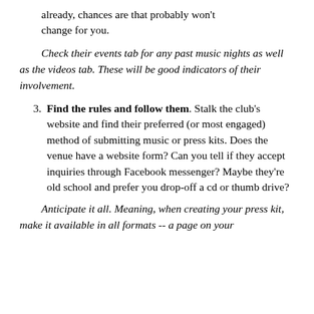already, chances are that probably won't change for you.
Check their events tab for any past music nights as well as the videos tab. These will be good indicators of their involvement.
3. Find the rules and follow them. Stalk the club's website and find their preferred (or most engaged) method of submitting music or press kits. Does the venue have a website form? Can you tell if they accept inquiries through Facebook messenger? Maybe they're old school and prefer you drop-off a cd or thumb drive?
Anticipate it all. Meaning, when creating your press kit, make it available in all formats -- a page on your